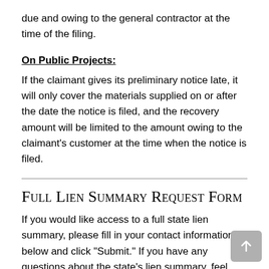due and owing to the general contractor at the time of the filing.
On Public Projects:
If the claimant gives its preliminary notice late, it will only cover the materials supplied on or after the date the notice is filed, and the recovery amount will be limited to the amount owing to the claimant’s customer at the time when the notice is filed.
Full Lien Summary Request Form
If you would like access to a full state lien summary, please fill in your contact information below and click “Submit.” If you have any questions about the state’s lien summary, feel free to call Ted Levy at 206-207-